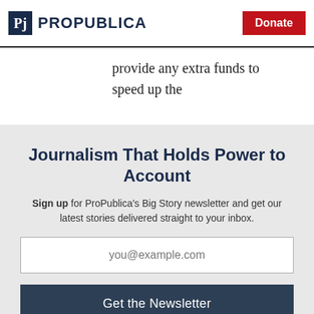ProPublica | Donate
provide any extra funds to speed up the process.
Journalism That Holds Power to Account
Sign up for ProPublica's Big Story newsletter and get our latest stories delivered straight to your inbox.
you@example.com
Get the Newsletter
No thanks, I'm all set
This site is protected by reCAPTCHA and the Google Privacy Policy and Terms of Service apply.